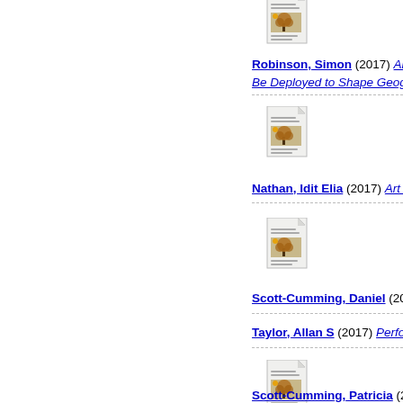[Figure (illustration): Document icon with tree image thumbnail, for Robinson Simon entry]
Robinson, Simon (2017) Archipelagos... Be Deployed to Shape Geographic In...
[Figure (illustration): Document icon with tree image thumbnail, for Nathan Idit Elia entry]
Nathan, Idit Elia (2017) Art of Play in...
[Figure (illustration): Document icon with tree image thumbnail, for Scott-Cumming Daniel entry]
Scott-Cumming, Daniel (2017) The Li...
Taylor, Allan S (2017) Performance, P...
[Figure (illustration): Document icon with tree image thumbnail, for Scott-Cumming Patricia entry]
Scott-Cumming, Patricia (2017) Socia...